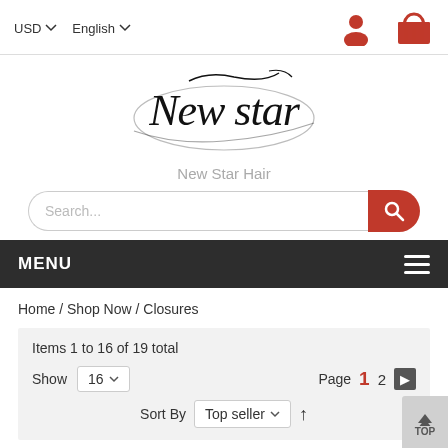USD  English
[Figure (logo): New Star Hair cursive logo with swirl design]
New Star Hair
[Figure (screenshot): Search bar with red search button]
MENU
Home / Shop Now / Closures
Items 1 to 16 of 19 total
Show 16   Page 1 2
Sort By  Top seller